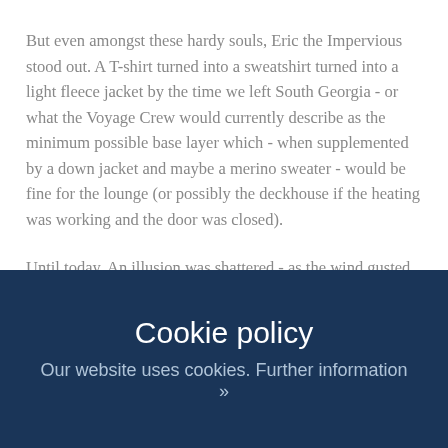But even amongst these hardy souls, Eric the Impervious stood out. A T-shirt turned into a sweatshirt turned into a light fleece jacket by the time we left South Georgia - or what the Voyage Crew would currently describe as the minimum possible base layer which - when supplemented by a down jacket and maybe a merino sweater - would be fine for the lounge (or possibly the deckhouse if the heating was working and the door was closed).
Until today. An illusion was shattered - as the wind gusted to fifty knots, the temperature hovered around zero and the rain, sleet and snow whistled horizontally over the deck, our illustrious captain was spotted wearing rain gear. It was of course well weathered and not this year's style or colour, but it
Cookie policy
Our website uses cookies. Further information »